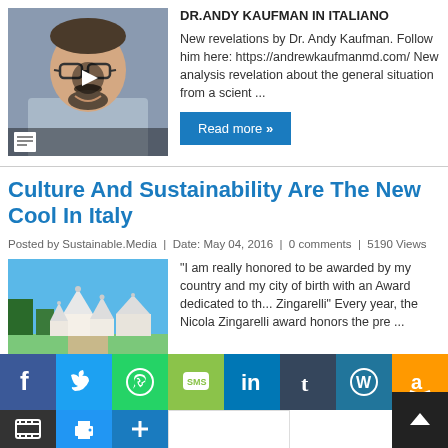[Figure (photo): Video thumbnail of Dr. Andy Kaufman, a man with glasses and beard, with a play button overlay and document icon]
DR.ANDY KAUFMAN IN ITALIANO New revelations by Dr. Andy Kaufman. Follow him here: https://andrewkaufmanmd.com/ New analysis revelation about the general situation from a scient ...
Read more »
Culture And Sustainability Are The New Cool In Italy
Posted by Sustainable.Media  |  Date: May 04, 2016  |  0 comments  |  5190 Views
[Figure (photo): Exterior of a white traditional Italian trulli building complex under blue sky]
"I am really honored to be awarded by my country and my city of birth with an Award dedicated to the... Zingarelli" Every year, the Nicola Zingarelli award honors the pre ...
[Figure (infographic): Social sharing bar with icons for Facebook, Twitter, WhatsApp, SMS, LinkedIn, Tumblr, WordPress, Amazon, Gmail, share, print, add, and blank button]